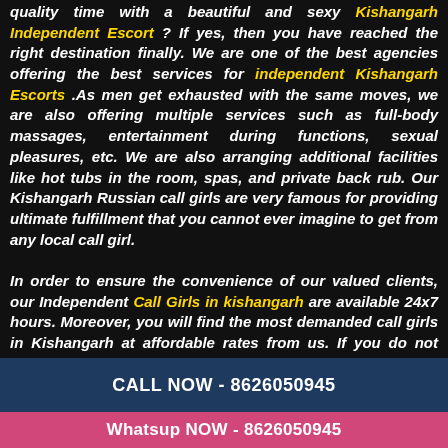quality time with a beautiful and sexy Kishangarh Independent Escort ? If yes, then you have reached the right destination finally. We are one of the best agencies offering the best services for independent Kishangarh Escorts .As men get exhausted with the same moves, we are also offering multiple services such as full-body massages, entertainment during functions, sexual pleasures, etc. We are also arranging additional facilities like hot tubs in the room, spas, and private back rub. Our Kishangarh Russian call girls are very famous for providing ultimate fulfillment that you cannot ever imagine to get from any local call girl.

In order to ensure the convenience of our valued clients, our Independent Call Girls in kishangarh are available 24x7 hours. Moreover, you will find the most demanded call girls in Kishangarh at affordable rates from us. If you do not have a girlfriend or
CALL NOW - 8626050945
Whatsup NOW - 8626050945